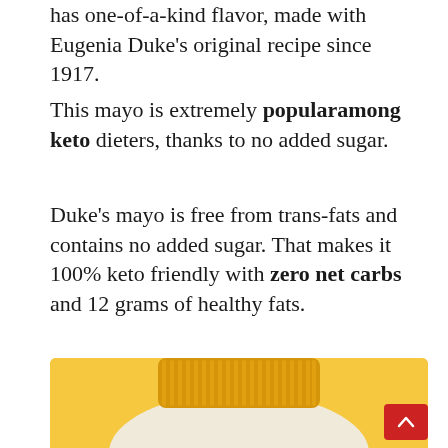has one-of-a-kind flavor, made with Eugenia Duke's original recipe since 1917.
This mayo is extremely popular among keto dieters, thanks to no added sugar.
Duke's mayo is free from trans-fats and contains no added sugar. That makes it 100% keto friendly with zero net carbs and 12 grams of healthy fats.
[Figure (photo): Close-up photo of a Duke's mayonnaise jar with a gold/orange ribbed lid against a yellow background, with a family recipe since 1917 emblem visible at the bottom.]